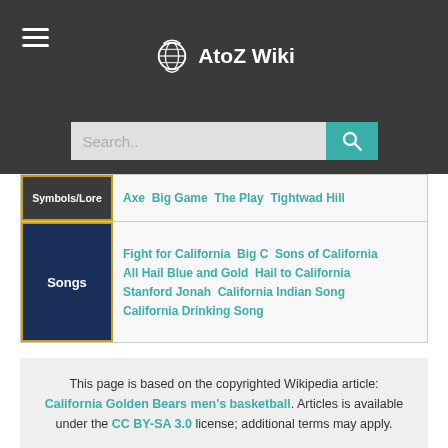AtoZ Wiki
Search..
Symbols/Lore — Axe Big Game The Play Tightwad Hill
Songs — Fight for California Big C Sons of California All Hail Blue and Gold Hail to California Stanford Jonah California Indian Song California Drinking Song
This page is based on the copyrighted Wikipedia article: California Golden Bears men's basketball. Articles is available under the CC BY-SA 3.0 license; additional terms may apply.